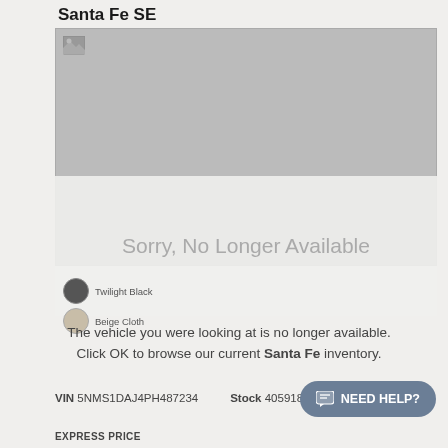Santa Fe SE
[Figure (photo): Gray placeholder image area for a vehicle photo (broken image icon visible top-left), with a translucent overlay on the lower portion showing 'Sorry, No Longer Available' and a close (X) button in the top-right of the overlay.]
The vehicle you were looking at is no longer available. Click OK to browse our current Santa Fe inventory.
VIN 5NMS1DAJ4PH487234   Stock 405918
EXPRESS PRICE